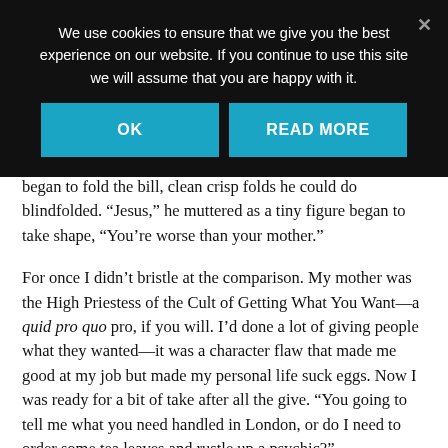We use cookies to ensure that we give you the best experience on our website. If you continue to use this site we will assume that you are happy with it.
[Figure (screenshot): Cookie consent banner with two buttons: OK and READ MORE on a dark background]
began to fold the bill, clean crisp folds he could do blindfolded. “Jesus,” he muttered as a tiny figure began to take shape, “You’re worse than your mother.”
For once I didn’t bristle at the comparison. My mother was the High Priestess of the Cult of Getting What You Want—a quid pro quo pro, if you will. I’d done a lot of giving people what they wanted—it was a character flaw that made me good at my job but made my personal life suck eggs. Now I was ready for a bit of take after all the give. “You going to tell me what you need handled in London, or do I need to order some tea leaves and rustle up a psychic?”
He blew a puff of disgust, then unfolded his tiny figure, smoothed the bill and began again. “Apparently the